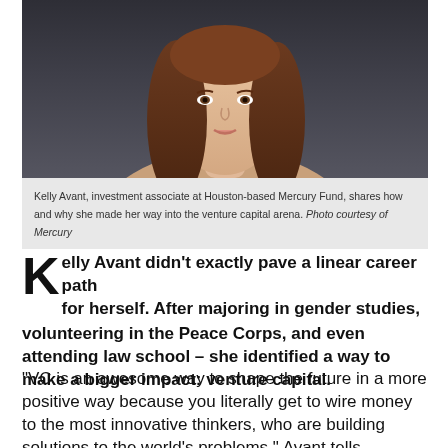[Figure (photo): Portrait photo of Kelly Avant, a woman with long brown hair against a dark background]
Kelly Avant, investment associate at Houston-based Mercury Fund, shares how and why she made her way into the venture capital arena. Photo courtesy of Mercury
Kelly Avant didn't exactly pave a linear career path for herself. After majoring in gender studies, volunteering in the Peace Corps, and even attending law school – she identified a way to make a bigger impact: venture capital.
"VC is an awesome way to shape the future in a more positive way because you literally get to wire money to the most innovative thinkers, who are building solutions to the world's problems," Avant tells